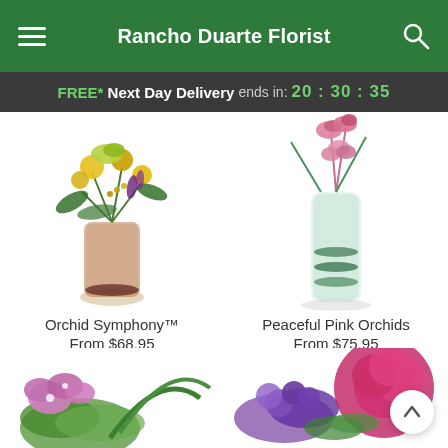Rancho Duarte Florist
FREE* Next Day Delivery ends in: 20:30:35
[Figure (photo): Orchid Symphony floral arrangement in a glass vase with yellow cymbidium orchids and yellow flowers]
Orchid Symphony™
From $68.95
[Figure (photo): Peaceful Pink Orchids arrangement in a tall glass cylinder vase with pink cymbidium orchids]
Peaceful Pink Orchids
From $75.95
[Figure (photo): Pink orchids with green succulent arrangement (partially visible, bottom of page)]
[Figure (photo): Purple and pink mixed flower arrangement (partially visible, bottom of page)]